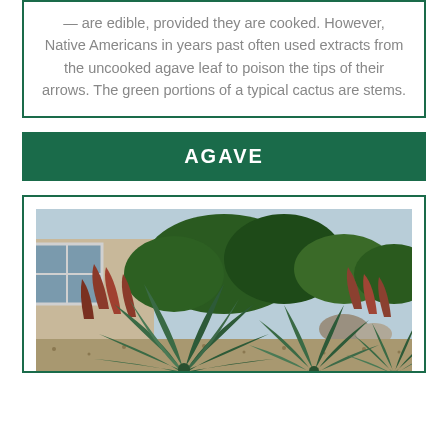— are edible, provided they are cooked. However, Native Americans in years past often used extracts from the uncooked agave leaf to poison the tips of their arrows. The green portions of a typical cactus are stems.
AGAVE
[Figure (photo): Photograph of agave plants in a garden landscape with shrubs, rocks, reddish plants, and a building with a window visible in the background.]